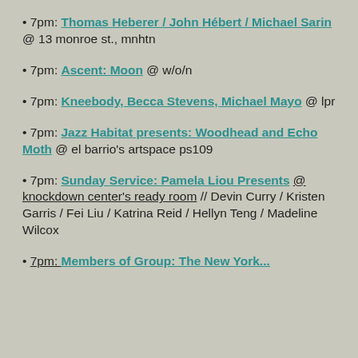• 7pm: Thomas Heberer / John Hébert / Michael Sarin @ 13 monroe st., mnhtn
• 7pm: Ascent: Moon @ w/o/n
• 7pm: Kneebody, Becca Stevens, Michael Mayo @ lpr
• 7pm: Jazz Habitat presents: Woodhead and Echo Moth @ el barrio's artspace ps109
• 7pm: Sunday Service: Pamela Liou Presents @ knockdown center's ready room // Devin Curry / Kristen Garris / Fei Liu / Katrina Reid / Hellyn Teng / Madeline Wilcox
• 7pm: Members of Group: The New York...